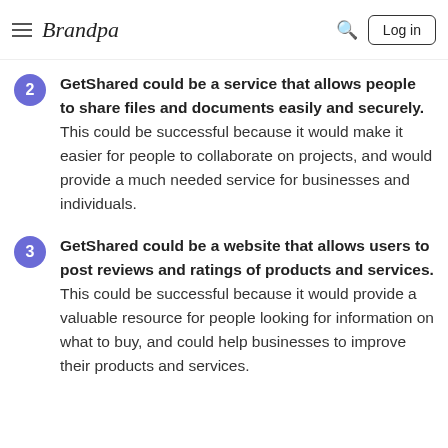Brandpa — Log in
their content, and could make people feel more comfortable sharing personal information.
GetShared could be a service that allows people to share files and documents easily and securely. This could be successful because it would make it easier for people to collaborate on projects, and would provide a much needed service for businesses and individuals.
GetShared could be a website that allows users to post reviews and ratings of products and services. This could be successful because it would provide a valuable resource for people looking for information on what to buy, and could help businesses to improve their products and services.